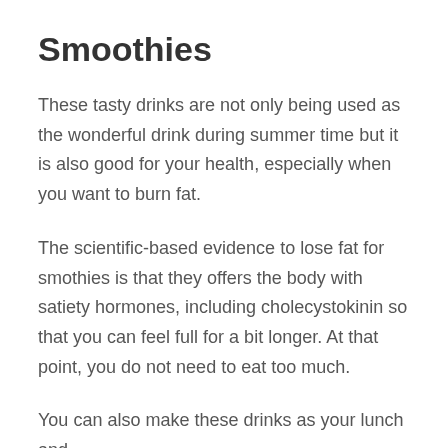Smoothies
These tasty drinks are not only being used as the wonderful drink during summer time but it is also good for your health, especially when you want to burn fat.
The scientific-based evidence to lose fat for smothies is that they offers the body with satiety hormones, including cholecystokinin so that you can feel full for a bit longer. At that point, you do not need to eat too much.
You can also make these drinks as your lunch and